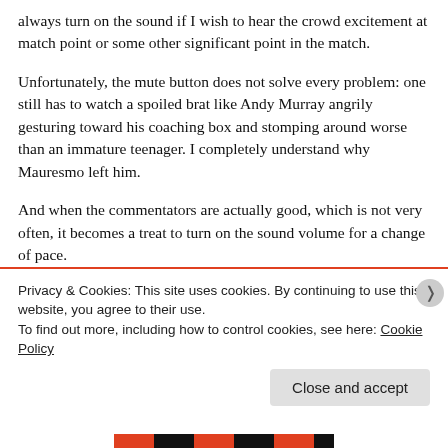always turn on the sound if I wish to hear the crowd excitement at match point or some other significant point in the match.
Unfortunately, the mute button does not solve every problem: one still has to watch a spoiled brat like Andy Murray angrily gesturing toward his coaching box and stomping around worse than an immature teenager. I completely understand why Mauresmo left him.
And when the commentators are actually good, which is not very often, it becomes a treat to turn on the sound volume for a change of pace.
Privacy & Cookies: This site uses cookies. By continuing to use this website, you agree to their use.
To find out more, including how to control cookies, see here: Cookie Policy